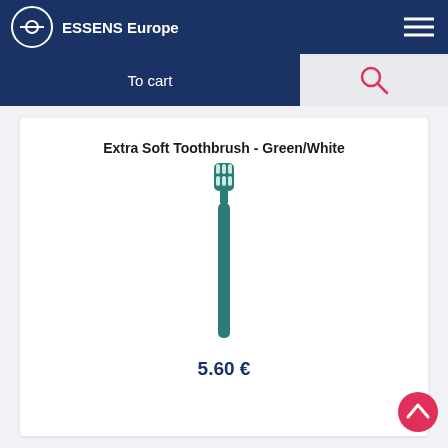ESSENS Europe
To cart
Extra Soft Toothbrush - Green/White
[Figure (photo): A teal/green extra soft toothbrush standing vertically with white bristles at the top and 'ESSENS DENTAL CARE' text on the handle]
5.60 €